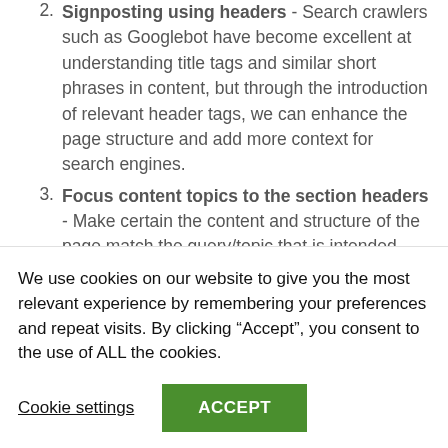2. Signposting using headers - Search crawlers such as Googlebot have become excellent at understanding title tags and similar short phrases in content, but through the introduction of relevant header tags, we can enhance the page structure and add more context for search engines.
3. Focus content topics to the section headers - Make certain the content and structure of the page match the query/topic that is intended. When adding content to web pages ensure it is holistic and logically fits in line with the topics being discussed. This can help search engines easily associate topics and keywords to
We use cookies on our website to give you the most relevant experience by remembering your preferences and repeat visits. By clicking “Accept”, you consent to the use of ALL the cookies.